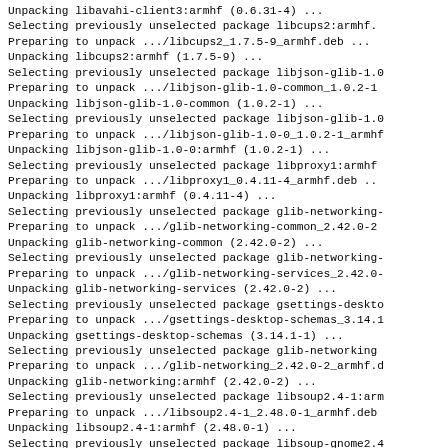Unpacking libavahi-client3:armhf (0.6.31-4) ...
Selecting previously unselected package libcups2:armhf.
Preparing to unpack .../libcups2_1.7.5-9_armhf.deb ...
Unpacking libcups2:armhf (1.7.5-9) ...
Selecting previously unselected package libjson-glib-1.0
Preparing to unpack .../libjson-glib-1.0-common_1.0.2-1
Unpacking libjson-glib-1.0-common (1.0.2-1) ...
Selecting previously unselected package libjson-glib-1.0
Preparing to unpack .../libjson-glib-1.0-0_1.0.2-1_armhf
Unpacking libjson-glib-1.0-0:armhf (1.0.2-1) ...
Selecting previously unselected package libproxy1:armhf
Preparing to unpack .../libproxy1_0.4.11-4_armhf.deb ..
Unpacking libproxy1:armhf (0.4.11-4) ...
Selecting previously unselected package glib-networking-
Preparing to unpack .../glib-networking-common_2.42.0-2
Unpacking glib-networking-common (2.42.0-2) ...
Selecting previously unselected package glib-networking-
Preparing to unpack .../glib-networking-services_2.42.0-
Unpacking glib-networking-services (2.42.0-2) ...
Selecting previously unselected package gsettings-deskto
Preparing to unpack .../gsettings-desktop-schemas_3.14.1
Unpacking gsettings-desktop-schemas (3.14.1-1) ...
Selecting previously unselected package glib-networking
Preparing to unpack .../glib-networking_2.42.0-2_armhf.d
Unpacking glib-networking:armhf (2.42.0-2) ...
Selecting previously unselected package libsoup2.4-1:arm
Preparing to unpack .../libsoup2.4-1_2.48.0-1_armhf.deb
Unpacking libsoup2.4-1:armhf (2.48.0-1) ...
Selecting previously unselected package libsoup-gnome2.4
Preparing to unpack .../libsoup-gnome2.4-1_2.48.0-1_armhf